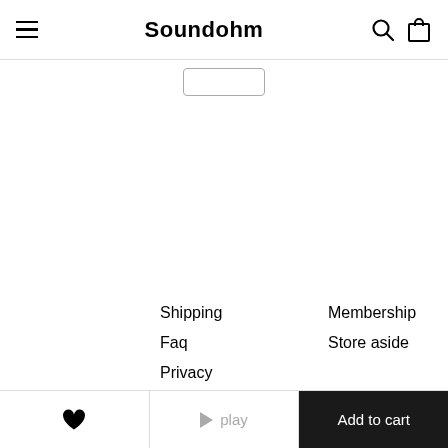Soundohm
Shipping
Faq
Privacy
Contact
Membership
Store aside
Soundohm is an international online mailorder that
♥   ▶ play   Add to cart